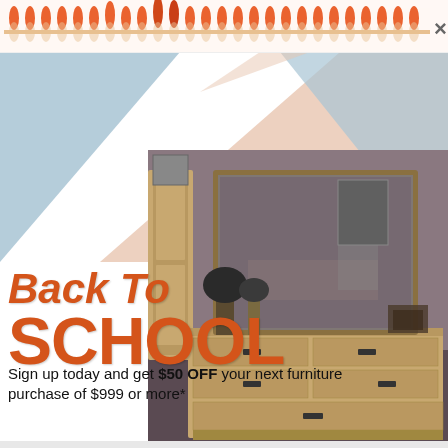[Figure (infographic): Top banner with orange flame/spiral coil decorations across the top, with an X close button on the right. Geometric colored background shapes (blue triangle, peach/salmon triangle) below the banner. A photo of a wooden bedroom dresser with mirror. Overlaid text reads 'Back To SCHOOL' in orange italic/bold fonts.]
Sign up today and get $50 OFF your next furniture purchase of $999 or more*